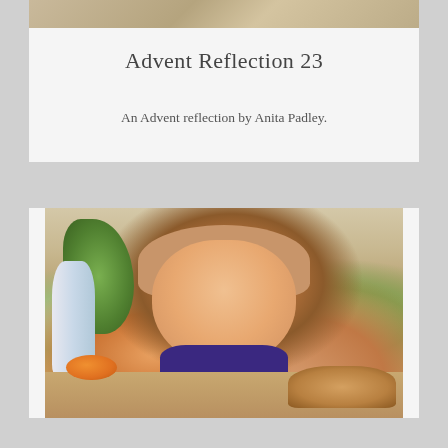[Figure (photo): Top portion of a photo, partially visible — appears to show an animal or figure with light/neutral tones at the top of the first card]
Advent Reflection 23
An Advent reflection by Anita Padley.
[Figure (photo): Photo of a smiling young girl with brown hair, resting her chin on her hands, sitting at a table with plants, a glass bottle, an orange, and food (bread/pastry) in the background. Indoor kitchen/dining setting.]